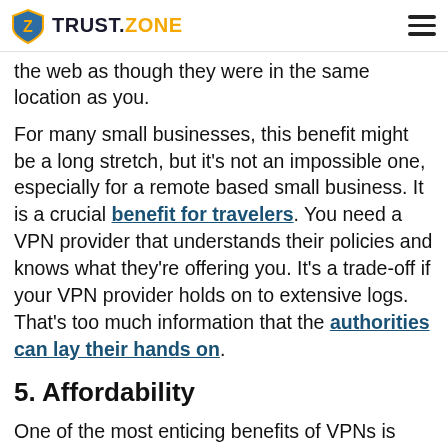TRUST.ZONE
the web as though they were in the same location as you.
For many small businesses, this benefit might be a long stretch, but it's not an impossible one, especially for a remote based small business. It is a crucial benefit for travelers. You need a VPN provider that understands their policies and knows what they're offering you. It's a trade-off if your VPN provider holds on to extensive logs. That's too much information that the authorities can lay their hands on.
5. Affordability
One of the most enticing benefits of VPNs is affordability. For all the benefits that it provides, it is cheap.  Many VPN service providers don't cost as much as $10 per user every month if purchased through the commercial licensing plan (Trust Zone starts from $2.33/mo!). With a